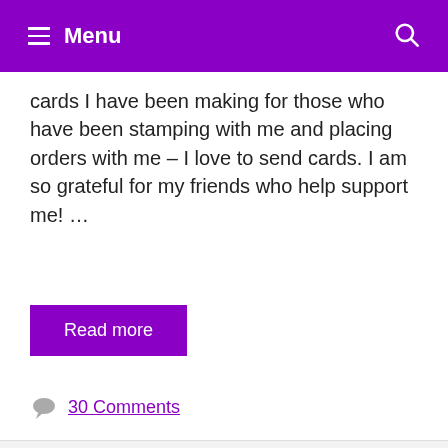Menu
cards I have been making for those who have been stamping with me and placing orders with me – I love to send cards. I am so grateful for my friends who help support me! …
Read more
30 Comments
Want another sneak peek? The “All Together”